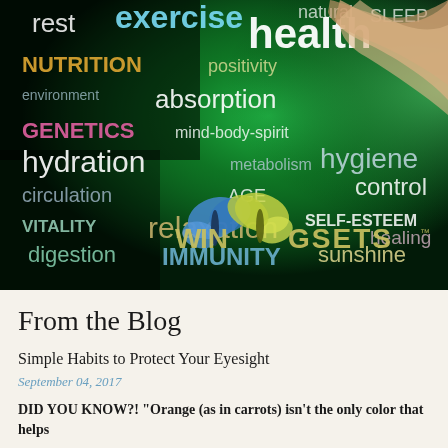[Figure (illustration): Health word cloud image on dark green/black background with a hand raised, showing health-related terms: health, exercise, rest, natural, sleep, NUTRITION, positivity, environment, absorption, GENETICS, mind-body-spirit, hydration, metabolism, hygiene, control, circulation, AGE, VITALITY, relaxation, SELF-ESTEEM, healing, digestion, IMMUNITY, sunshine. Bottom portion shows WINGSETS logo with two butterflies (blue and yellow-green).]
From the Blog
Simple Habits to Protect Your Eyesight
September 04, 2017
DID YOU KNOW?! "Orange (as in carrots) isn't the only color that helps